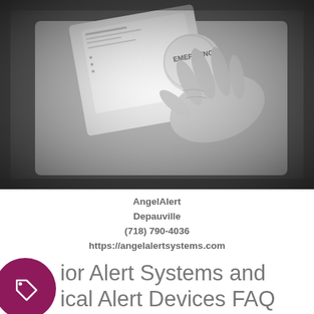[Figure (photo): Black and white photo of an elderly person's hand pressing an emergency button on a medical alert device]
AngelAlert
Depauville
(718) 790-4036
https://angelalertsystems.com
Senior Alert Systems and Medical Alert Devices FAQ